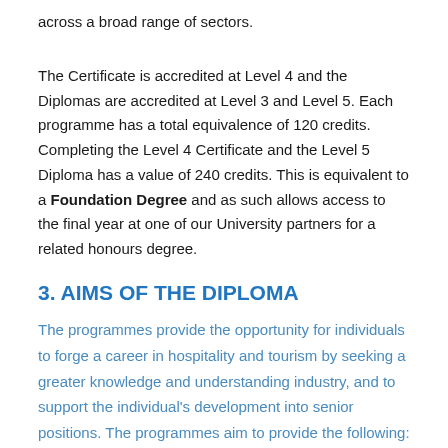across a broad range of sectors.
The Certificate is accredited at Level 4 and the Diplomas are accredited at Level 3 and Level 5. Each programme has a total equivalence of 120 credits. Completing the Level 4 Certificate and the Level 5 Diploma has a value of 240 credits. This is equivalent to a Foundation Degree and as such allows access to the final year at one of our University partners for a related honours degree.
3. AIMS OF THE DIPLOMA
The programmes provide the opportunity for individuals to forge a career in hospitality and tourism by seeking a greater knowledge and understanding industry, and to support the individual's development into senior positions. The programmes aim to provide the following: